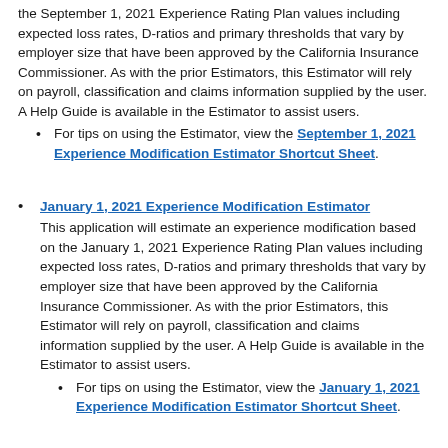the September 1, 2021 Experience Rating Plan values including expected loss rates, D-ratios and primary thresholds that vary by employer size that have been approved by the California Insurance Commissioner. As with the prior Estimators, this Estimator will rely on payroll, classification and claims information supplied by the user. A Help Guide is available in the Estimator to assist users.
For tips on using the Estimator, view the September 1, 2021 Experience Modification Estimator Shortcut Sheet.
January 1, 2021 Experience Modification Estimator
This application will estimate an experience modification based on the January 1, 2021 Experience Rating Plan values including expected loss rates, D-ratios and primary thresholds that vary by employer size that have been approved by the California Insurance Commissioner. As with the prior Estimators, this Estimator will rely on payroll, classification and claims information supplied by the user. A Help Guide is available in the Estimator to assist users.
For tips on using the Estimator, view the January 1, 2021 Experience Modification Estimator Shortcut Sheet.
2020 Experience Modification Estimator
This application will estimate an experience modification based on the January 1, 2020 Experience Rating Plan values including